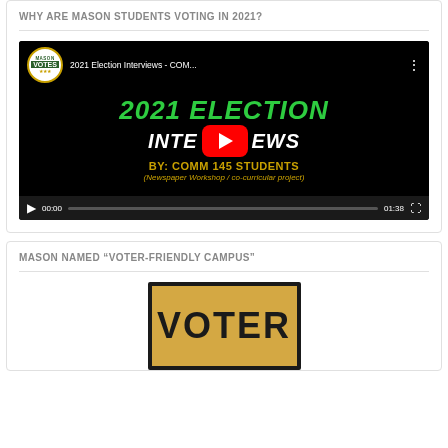WHY ARE MASON STUDENTS VOTING IN 2021?
[Figure (screenshot): YouTube video player showing '2021 Election Interviews - COM...' by Mason Votes. Video thumbnail shows text: 2021 ELECTION INTERVIEWS by: COMM 145 STUDENTS (Newspaper Workshop / co-curricular project). Player shows 00:00 / 01:38.]
MASON NAMED “VOTER-FRIENDLY CAMPUS”
[Figure (photo): Image showing the word VOTER in large bold text on a tan/gold background with a dark border, partially visible.]